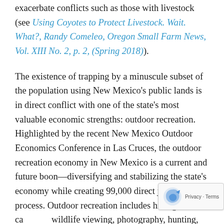exacerbate conflicts such as those with livestock (see Using Coyotes to Protect Livestock. Wait. What?, Randy Comeleo, Oregon Small Farm News, Vol. XIII No. 2, p. 2, (Spring 2018)).
The existence of trapping by a minuscule subset of the population using New Mexico’s public lands is in direct conflict with one of the state’s most valuable economic strengths: outdoor recreation. Highlighted by the recent New Mexico Outdoor Economics Conference in Las Cruces, the outdoor recreation economy in New Mexico is a current and future boon—diversifying and stabilizing the state’s economy while creating 99,000 direct jobs in the process. Outdoor recreation includes hiking, ca… wildlife viewing, photography, hunting, horseback… … riding, trail racing, and bicycling. This economy is